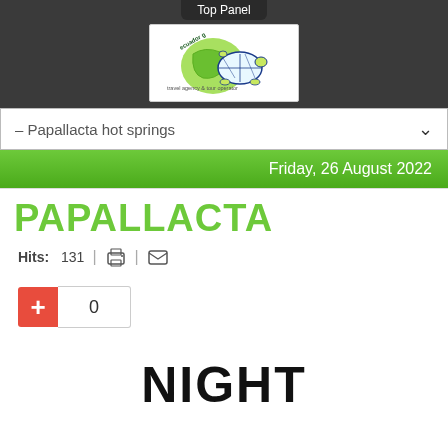[Figure (logo): Ecuador travel agency logo with turtle and globe on dark background panel labeled Top Panel]
– Papallacta hot springs
Friday, 26 August 2022
PAPALLACTA
Hits: 131
0
NIGHT